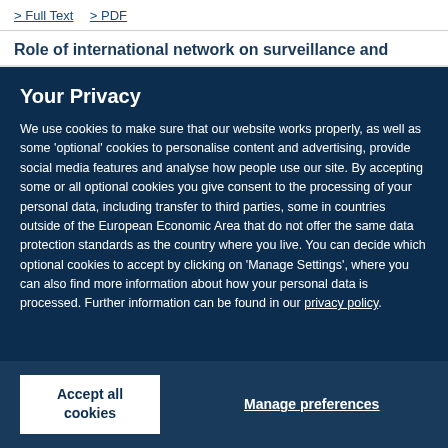Full Text | PDF
Role of international network on surveillance and
Your Privacy
We use cookies to make sure that our website works properly, as well as some 'optional' cookies to personalise content and advertising, provide social media features and analyse how people use our site. By accepting some or all optional cookies you give consent to the processing of your personal data, including transfer to third parties, some in countries outside of the European Economic Area that do not offer the same data protection standards as the country where you live. You can decide which optional cookies to accept by clicking on 'Manage Settings', where you can also find more information about how your personal data is processed. Further information can be found in our privacy policy.
Accept all cookies
Manage preferences